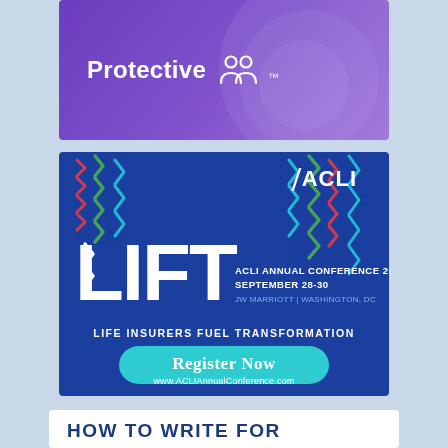[Figure (logo): Protective insurance company logo on purple gradient background with decorative circle arcs]
[Figure (infographic): ACLI LIFT Annual Conference 2022 advertisement. Dark blue background with colorful upward-pointing chevron arrows. Large white text 'LIFT' with ACLI logo top right. Text: 'ACLI ANNUAL CONFERENCE 2022 SEPTEMBER 28-30 JW MARRIOTT | WASHINGTON, DC'. 'LIFE INSURERS FUEL TRANSFORMATION'. Teal rounded button: 'Register Now' and 'www.ACLIAnnualConference.com']
HOW TO WRITE FOR